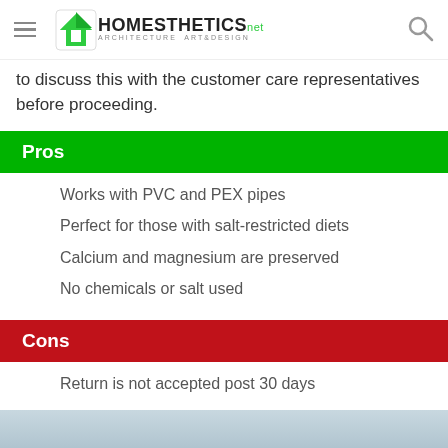HOMESTHETICS ARCHITECTURE ART&DESIGN
to discuss this with the customer care representatives before proceeding.
Pros
Works with PVC and PEX pipes
Perfect for those with salt-restricted diets
Calcium and magnesium are preserved
No chemicals or salt used
Cons
Return is not accepted post 30 days
[Figure (photo): Bottom image strip, partially visible, light blue-gray color, appears to be a product or water-related image.]